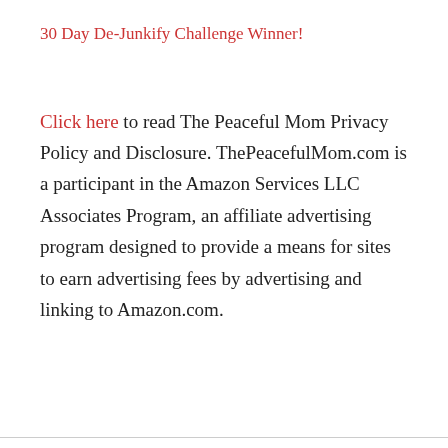30 Day De-Junkify Challenge Winner!
Click here to read The Peaceful Mom Privacy Policy and Disclosure. ThePeacefulMom.com is a participant in the Amazon Services LLC Associates Program, an affiliate advertising program designed to provide a means for sites to earn advertising fees by advertising and linking to Amazon.com.